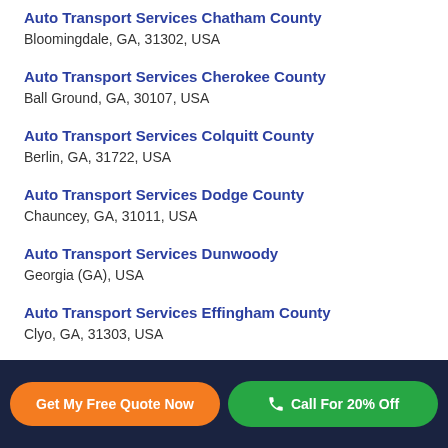Auto Transport Services Chatham County
Bloomingdale, GA, 31302, USA
Auto Transport Services Cherokee County
Ball Ground, GA, 30107, USA
Auto Transport Services Colquitt County
Berlin, GA, 31722, USA
Auto Transport Services Dodge County
Chauncey, GA, 31011, USA
Auto Transport Services Dunwoody
Georgia (GA), USA
Auto Transport Services Effingham County
Clyo, GA, 31303, USA
Auto Transport Services Gilmer County
Get My Free Quote Now
Call For 20% Off